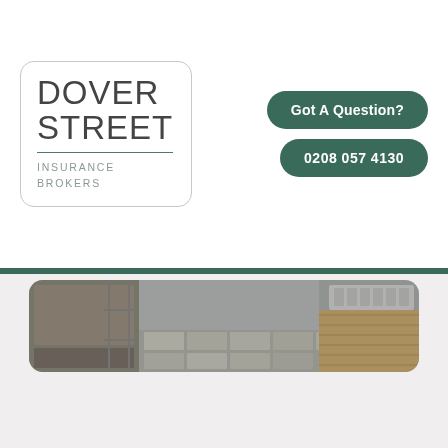[Figure (logo): Dover Street Insurance Brokers logo in a rounded rectangle box]
Got A Question?
0208 057 4130
[Figure (photo): Partial view of a patio/garden construction scene with scaffolding, stone paving and decking]
[Figure (photo): Large detached brick house with garage and garden, under cloudy sky]
Prestige Home Insurance